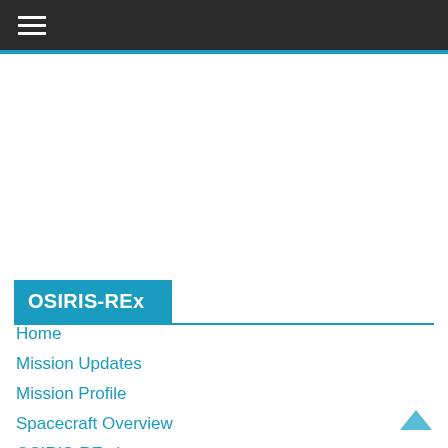☰
OSIRIS-REx
Home
Mission Updates
Mission Profile
Spacecraft Overview
OSIRIS-REx Instruments